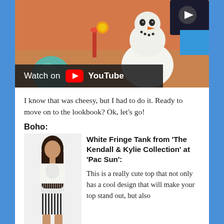[Figure (screenshot): Screenshot of a YouTube video showing an animated snowman character (Olaf from Frozen) at a tropical beach setting with orange background. A 'Watch on YouTube' overlay bar is visible at the bottom left of the video.]
I know that was cheesy, but I had to do it. Ready to move on to the lookbook? Ok, let's go!
Boho:
[Figure (photo): Photo of a young woman wearing a white fringe crop tank top and black and white striped shorts.]
White Fringe Tank from 'The Kendall & Kylie Collection' at 'Pac Sun': This is a really cute top that not only has a cool design that will make your top stand out, but also takes the classic crop top in an interesting direction by adding long fringe. This is a really cool piece that